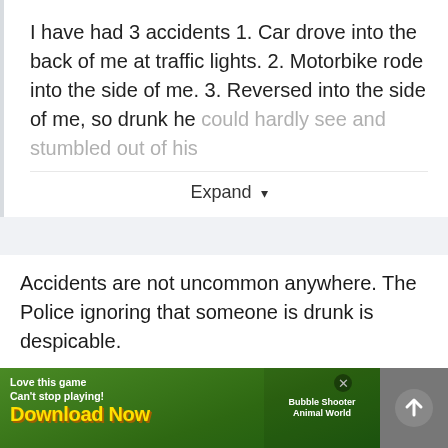I have had 3 accidents 1. Car drove into the back of me at traffic lights. 2. Motorbike rode into the side of me. 3. Reversed into the side of me, so drunk he could hardly see and stumbled out of his
Expand ▼
Accidents are not uncommon anywhere. The Police ignoring that someone is drunk is despicable.
Quote
[Figure (screenshot): Mobile advertisement banner for a game called Bubble Shooter Animal World with text 'Love this game Can't stop playing! Download Now' on green background with game graphics]